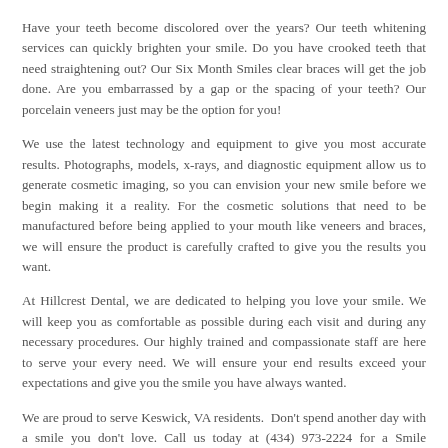Have your teeth become discolored over the years? Our teeth whitening services can quickly brighten your smile. Do you have crooked teeth that need straightening out? Our Six Month Smiles clear braces will get the job done. Are you embarrassed by a gap or the spacing of your teeth? Our porcelain veneers just may be the option for you!
We use the latest technology and equipment to give you most accurate results. Photographs, models, x-rays, and diagnostic equipment allow us to generate cosmetic imaging, so you can envision your new smile before we begin making it a reality. For the cosmetic solutions that need to be manufactured before being applied to your mouth like veneers and braces, we will ensure the product is carefully crafted to give you the results you want.
At Hillcrest Dental, we are dedicated to helping you love your smile. We will keep you as comfortable as possible during each visit and during any necessary procedures. Our highly trained and compassionate staff are here to serve your every need. We will ensure your end results exceed your expectations and give you the smile you have always wanted.
We are proud to serve Keswick, VA residents.  Don't spend another day with a smile you don't love. Call us today at (434) 973-2224 for a Smile Makeover!